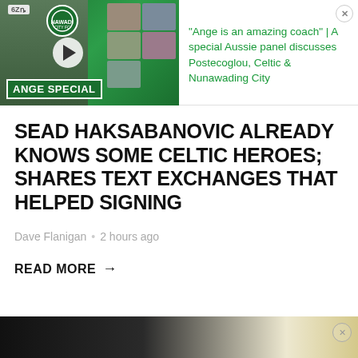[Figure (screenshot): Video thumbnail for 'Ange Special' featuring a coach and face grid on green background, with podcast-style ad text about Postecoglou, Celtic & Nunawading City]
SEAD HAKSABANOVIC ALREADY KNOWS SOME CELTIC HEROES; SHARES TEXT EXCHANGES THAT HELPED SIGNING
Dave Flanigan • 2 hours ago
READ MORE →
[Figure (photo): Bottom advertisement strip showing a partially visible sports/athletic image in dark and gold tones]